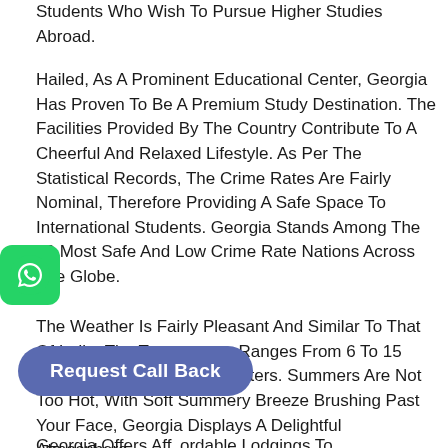Students Who Wish To Pursue Higher Studies Abroad.
Hailed, As A Prominent Educational Center, Georgia Has Proven To Be A Premium Study Destination. The Facilities Provided By The Country Contribute To A Cheerful And Relaxed Lifestyle. As Per The Statistical Records, The Crime Rates Are Fairly Nominal, Therefore Providing A Safe Space To International Students. Georgia Stands Among The 10 Most Safe And Low Crime Rate Nations Across The Globe.
[Figure (logo): WhatsApp icon button (green rounded square with white phone/chat icon)]
The Weather Is Fairly Pleasant And Similar To That Of India. The Temperature Ranges From 6 To 15 Degrees Celsius During Winters. Summers Are Not Too Hot, With Soft Summery Breeze Brushing Past Your Face, Georgia Displays A Delightful Atmosphere.
Georgia Offers Affordable Lodgings To
[Figure (other): Request Call Back button (dark blue/purple pill-shaped button with white bold text)]